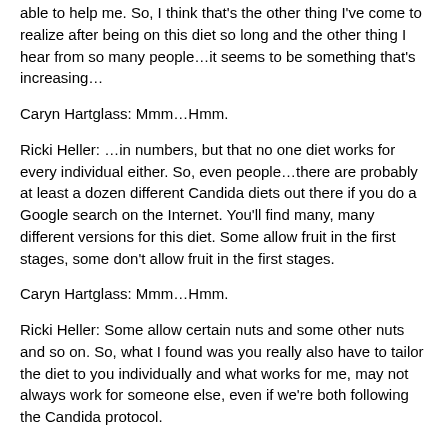able to help me.  So, I think that's the other thing I've come to realize after being on this diet so long and the other thing I hear from so many people…it seems to be something that's increasing…
Caryn Hartglass:  Mmm…Hmm.
Ricki Heller:  …in numbers, but that no one diet works for every individual either.  So, even people…there are probably at least a dozen different Candida diets out there if you do a Google search on the Internet.   You'll find many, many different versions for this diet.  Some allow fruit in the first stages, some don't allow fruit in the first stages.
Caryn Hartglass:  Mmm…Hmm.
Ricki Heller:  Some allow certain nuts and some other nuts and so on.  So, what I found was you really also have to tailor the diet to you individually and what works for me, may not always work for someone else, even if we're both following the Candida protocol.